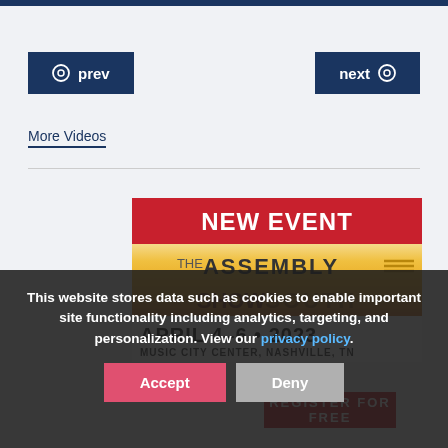prev
next
More Videos
[Figure (infographic): The Assembly Show South event banner: RED header 'NEW EVENT', gold gradient with 'THE ASSEMBLY SHOW SOUTH', date 'APRIL 4-6 · 2023', venue 'MUSIC CITY CENTER, NASHVILLE, TN', and 'REGISTER FOR FREE' at bottom]
This website stores data such as cookies to enable important site functionality including analytics, targeting, and personalization. View our privacy policy.
Accept
Deny